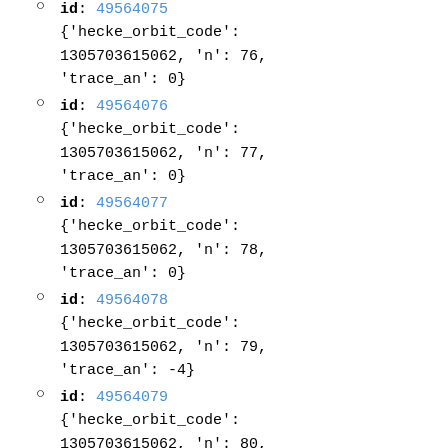id: 49564075 {'hecke_orbit_code': 1305703615062, 'n': 76, 'trace_an': 0}
id: 49564076 {'hecke_orbit_code': 1305703615062, 'n': 77, 'trace_an': 0}
id: 49564077 {'hecke_orbit_code': 1305703615062, 'n': 78, 'trace_an': 0}
id: 49564078 {'hecke_orbit_code': 1305703615062, 'n': 79, 'trace_an': -4}
id: 49564079 {'hecke_orbit_code': 1305703615062, 'n': 80, 'trace_an': 0}
id: 49564080